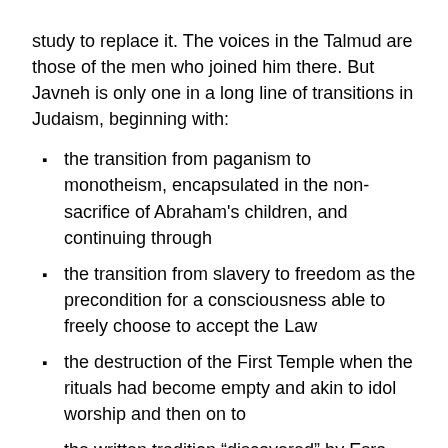study to replace it. The voices in the Talmud are those of the men who joined him there. But Javneh is only one in a long line of transitions in Judaism, beginning with:
the transition from paganism to monotheism, encapsulated in the non-sacrifice of Abraham's children, and continuing through
the transition from slavery to freedom as the precondition for a consciousness able to freely choose to accept the Law
the destruction of the First Temple when the rituals had become empty and akin to idol worship and then on to
the written tradition “discovered” by Esra after the return from exile.
Each seeming disaster transitions to a deeper, more